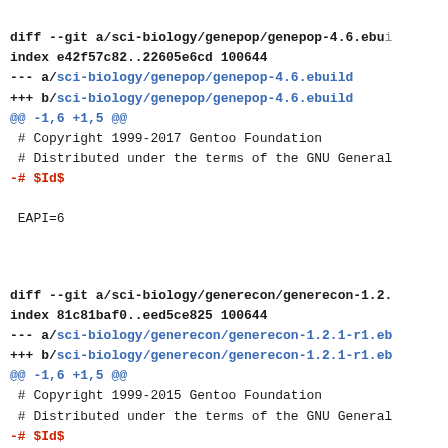diff --git a/sci-biology/genepop/genepop-4.6.ebui
index e42f57c82..22605e6cd 100644
--- a/sci-biology/genepop/genepop-4.6.ebuild
+++ b/sci-biology/genepop/genepop-4.6.ebuild
@@ -1,6 +1,5 @@
 # Copyright 1999-2017 Gentoo Foundation
 # Distributed under the terms of the GNU General
-# $Id$

 EAPI=6
diff --git a/sci-biology/generecon/generecon-1.2.
index 81c81baf0..eed5ce825 100644
--- a/sci-biology/generecon/generecon-1.2.1-r1.eb
+++ b/sci-biology/generecon/generecon-1.2.1-r1.eb
@@ -1,6 +1,5 @@
 # Copyright 1999-2015 Gentoo Foundation
 # Distributed under the terms of the GNU General
-# $Id$

 EAPI=5